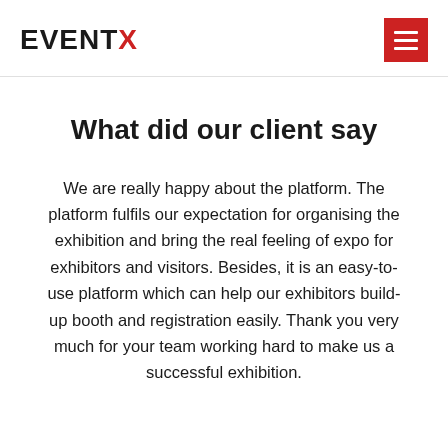EVENTX
What did our client say
We are really happy about the platform. The platform fulfils our expectation for organising the exhibition and bring the real feeling of expo for exhibitors and visitors. Besides, it is an easy-to-use platform which can help our exhibitors build-up booth and registration easily. Thank you very much for your team working hard to make us a successful exhibition.